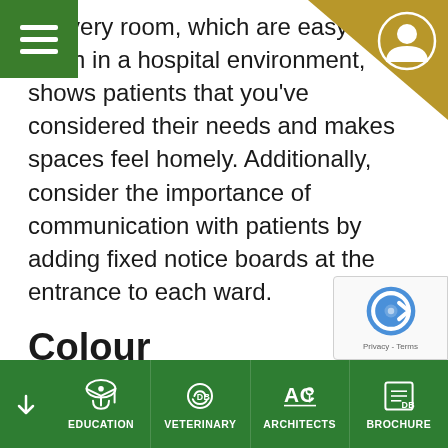to every room, which are easy to clean in a hospital environment, shows patients that you've considered their needs and makes spaces feel homely. Additionally, consider the importance of communication with patients by adding fixed notice boards at the entrance to each ward.
Colour
As a final note, colour can have a significant impact on your healthcare facility's atmosphere. So, factor your changing ro... benches, grab rails, and medicine cabinets
EDUCATION  VETERINARY  ARCHITECTS  BROCHURE